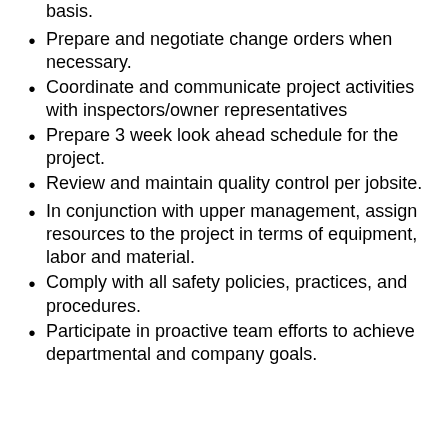basis.
Prepare and negotiate change orders when necessary.
Coordinate and communicate project activities with inspectors/owner representatives
Prepare 3 week look ahead schedule for the project.
Review and maintain quality control per jobsite.
In conjunction with upper management, assign resources to the project in terms of equipment, labor and material.
Comply with all safety policies, practices, and procedures.
Participate in proactive team efforts to achieve departmental and company goals.